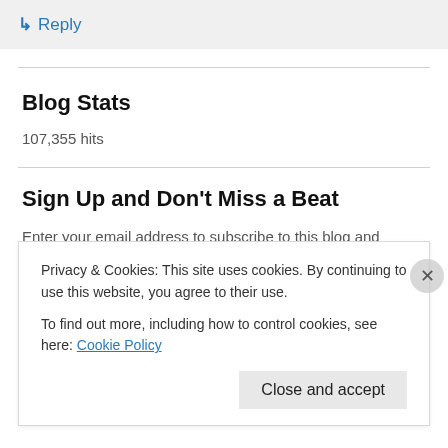↳ Reply
Blog Stats
107,355 hits
Sign Up and Don't Miss a Beat
Enter your email address to subscribe to this blog and receive notifications of new posts by email.
Privacy & Cookies: This site uses cookies. By continuing to use this website, you agree to their use. To find out more, including how to control cookies, see here: Cookie Policy
Close and accept